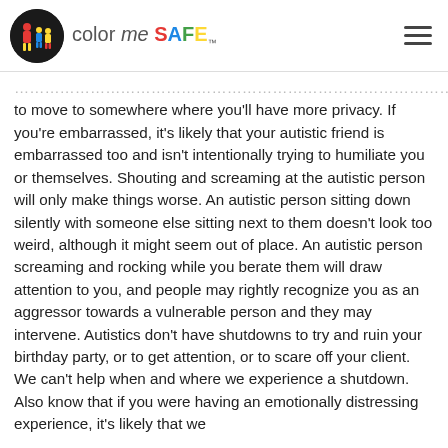color me SAFE
to move to somewhere where you'll have more privacy. If you're embarrassed, it's likely that your autistic friend is embarrassed too and isn't intentionally trying to humiliate you or themselves. Shouting and screaming at the autistic person will only make things worse. An autistic person sitting down silently with someone else sitting next to them doesn't look too weird, although it might seem out of place. An autistic person screaming and rocking while you berate them will draw attention to you, and people may rightly recognize you as an aggressor towards a vulnerable person and they may intervene. Autistics don't have shutdowns to try and ruin your birthday party, or to get attention, or to scare off your client. We can't help when and where we experience a shutdown. Also know that if you were having an emotionally distressing experience, it's likely that we